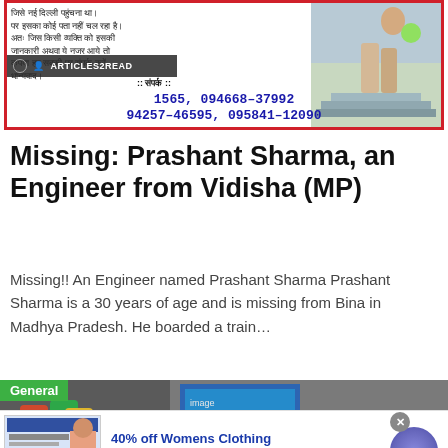[Figure (other): Missing person notice card in Hindi with contact numbers, bordered in red, with an image of a person on the right side. Shows ARTICLES2READ branding and phone numbers: 1565, 094668-37992, 94257-46595, 095841-12090]
Missing: Prashant Sharma, an Engineer from Vidisha (MP)
Missing!! An Engineer named Prashant Sharma Prashant Sharma is a 30 years of age and is missing from Bina in Madhya Pradesh. He boarded a train…
[Figure (other): Infolinks advertisement banner showing general category tag with colorful puzzle pieces image, infolinks label, and secondary images]
[Figure (other): Advertisement: 40% off Womens Clothing - Save 40% now on women clothing at Ashley Stewart. bit.ly. With purple circular arrow button.]